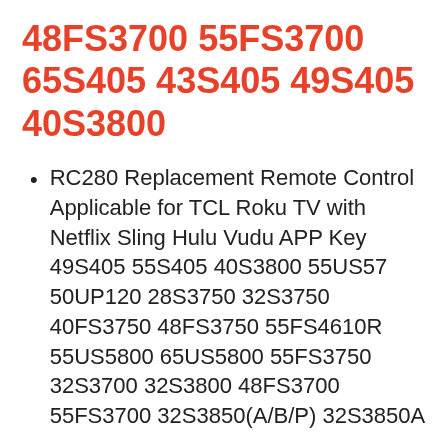48FS3700 55FS3700 65S405 43S405 49S405 40S3800
RC280 Replacement Remote Control Applicable for TCL Roku TV with Netflix Sling Hulu Vudu APP Key 49S405 55S405 40S3800 55US57 50UP120 28S3750 32S3750 40FS3750 48FS3750 55FS4610R 55US5800 65US5800 55FS3750 32S3700 32S3800 48FS3700 55FS3700 32S3850(A/B/P) 32S3850A